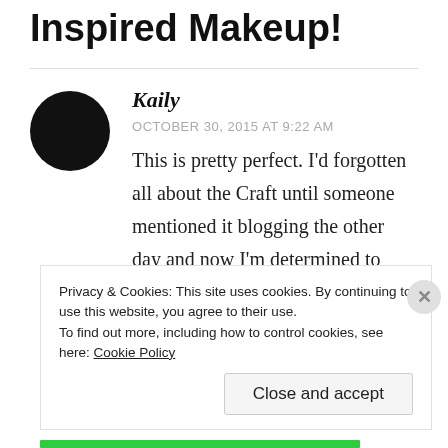Inspired Makeup!
Kaily
OCTOBER 30, 2015 AT 9:22 AM
This is pretty perfect. I'd forgotten all about the Craft until someone mentioned it blogging the other day and now I'm determined to watch it before Halloween ends. I can't believe it's
Privacy & Cookies: This site uses cookies. By continuing to use this website, you agree to their use.
To find out more, including how to control cookies, see here: Cookie Policy
Close and accept